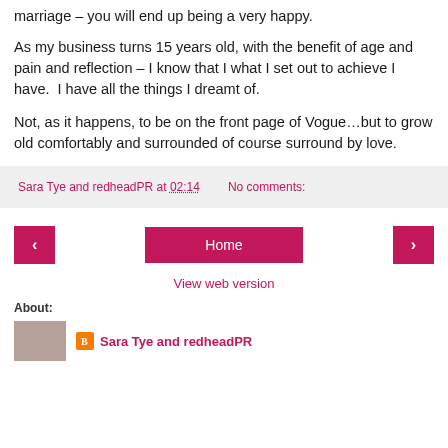marriage – you will end up being a very happy.
As my business turns 15 years old, with the benefit of age and pain and reflection – I know that I what I set out to achieve I have.  I have all the things I dreamt of.
Not, as it happens, to be on the front page of Vogue…but to grow old comfortably and surrounded of course surround by love.
Sara Tye and redheadPR at 02:14    No comments:
[Figure (screenshot): Navigation buttons: left arrow, Home, right arrow, and View web version link]
About:
Sara Tye and redheadPR